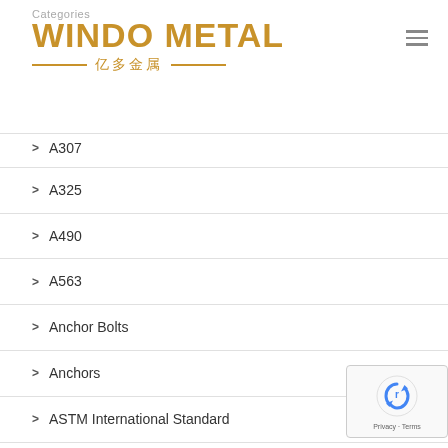Categories
[Figure (logo): WINDO METAL logo with Chinese text 亿多金属 flanked by golden lines]
A307 (partially visible)
A325
A490
A563
Anchor Bolts
Anchors
ASTM International Standard
Bolt Types